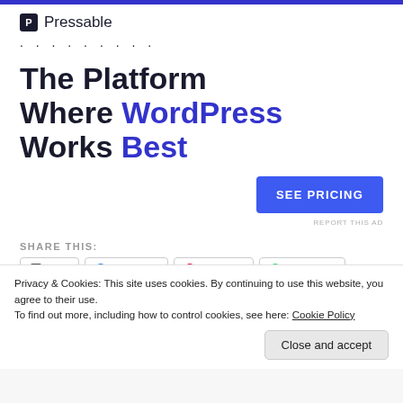[Figure (logo): Pressable logo with blue P icon and text 'Pressable']
· · · · · · · · ·
The Platform Where WordPress Works Best
[Figure (other): SEE PRICING call-to-action button in blue]
REPORT THIS AD
SHARE THIS:
Print  Facebook  Pinterest  WhatsApp
Privacy & Cookies: This site uses cookies. By continuing to use this website, you agree to their use.
To find out more, including how to control cookies, see here: Cookie Policy
Close and accept